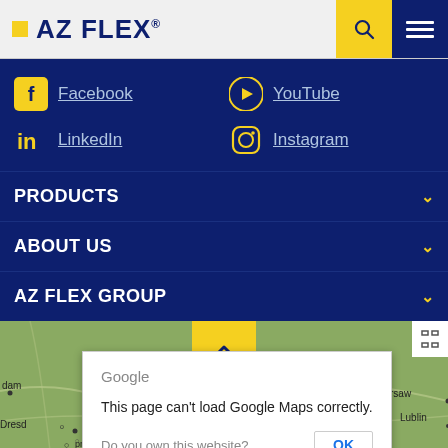AZ FLEX
Facebook
YouTube
LinkedIn
Instagram
PRODUCTS
ABOUT US
AZ FLEX GROUP
[Figure (map): Google Maps background showing partial map of Europe with cities visible. An error dialog overlays the map: 'This page can't load Google Maps correctly.' with an OK button and 'Do you own this website?' text.]
Google
This page can't load Google Maps correctly.
Do you own this website?
OK